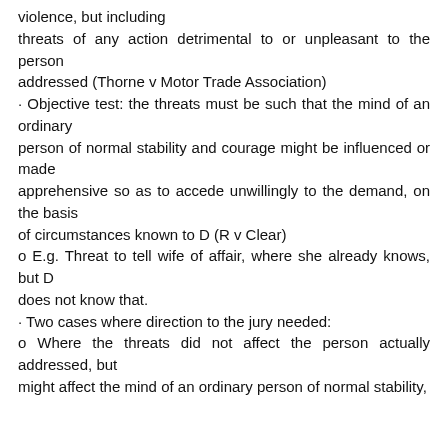violence, but including threats of any action detrimental to or unpleasant to the person addressed (Thorne v Motor Trade Association)
· Objective test: the threats must be such that the mind of an ordinary person of normal stability and courage might be influenced or made apprehensive so as to accede unwillingly to the demand, on the basis of circumstances known to D (R v Clear)
o E.g. Threat to tell wife of affair, where she already knows, but D does not know that.
· Two cases where direction to the jury needed:
o Where the threats did not affect the person actually addressed, but might affect the mind of an ordinary person of normal stability,